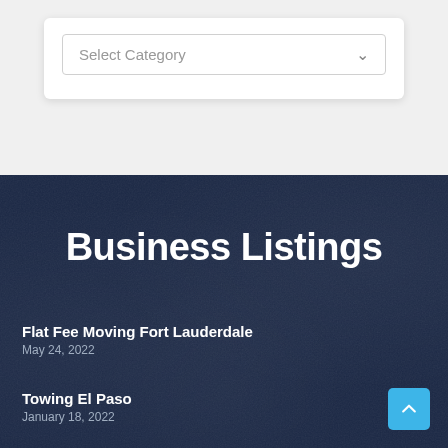[Figure (screenshot): A dropdown selector labeled 'Select Category' with a chevron arrow, inside a white card on a light gray background.]
Business Listings
Flat Fee Moving Fort Lauderdale
May 24, 2022
Towing El Paso
January 18, 2022